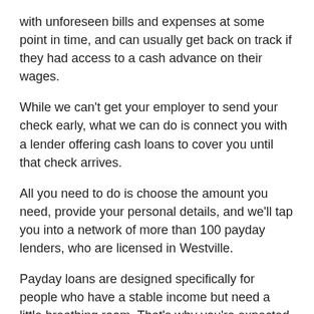with unforeseen bills and expenses at some point in time, and can usually get back on track if they had access to a cash advance on their wages.
While we can't get your employer to send your check early, what we can do is connect you with a lender offering cash loans to cover you until that check arrives.
All you need to do is choose the amount you need, provide your personal details, and we'll tap you into a network of more than 100 payday lenders, who are licensed in Westville.
Payday loans are designed specifically for people who have a stable income but need a little breathing room. That's why you're expected to make the repayment in one lump sum, on or just after the next time you get paid (usually no longer than 30 days).